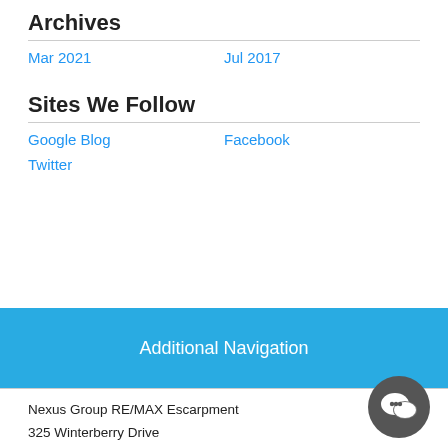Archives
Mar 2021
Jul 2017
Sites We Follow
Google Blog
Facebook
Twitter
Additional Navigation
Nexus Group RE/MAX Escarpment
325 Winterberry Drive
Stoney Creek, Ontario
L8J 0B6
905-340-0202 ( Ext 1,2 or 3)
Ext 1- Sharnit Singh